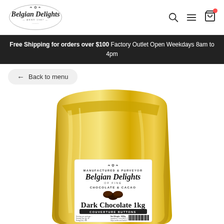Belgian Delights logo with search, menu, and cart icons
Free Shipping for orders over $100 Factory Outlet Open Weekdays 8am to 4pm
← Back to menu
[Figure (photo): Gold foil 1kg bag of Belgian Delights Dark Chocolate Couverture Buttons with product label showing brand logo, 'MANUFACTURED & PURVEYOR', 'Belgian Delights', 'OF FINE CHOCOLATE & CACAO', 'Dark Chocolate 1kg', 'COUVERTURE BUTTONS', net weight 1000g, and nutritional/ingredient information on the label.]